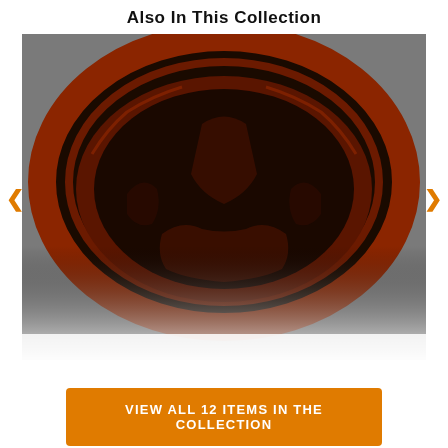Also In This Collection
[Figure (photo): Close-up photograph of a circular embossed seal or coin, reddish-brown and black in color, showing an ornate design with figures and text around the border. Navigation arrows (< and >) appear on the left and right sides of the image carousel.]
VIEW ALL 12 ITEMS IN THE COLLECTION